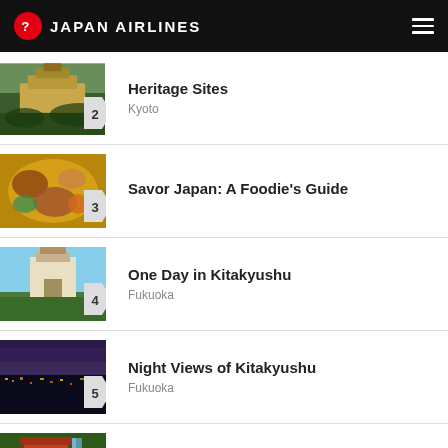JAPAN AIRLINES
Heritage Sites — Kyoto
Savor Japan: A Foodie's Guide
One Day in Kitakyushu — Fukuoka
Night Views of Kitakyushu — Fukuoka
Wakayama Top 10 Attractions — Wakayama